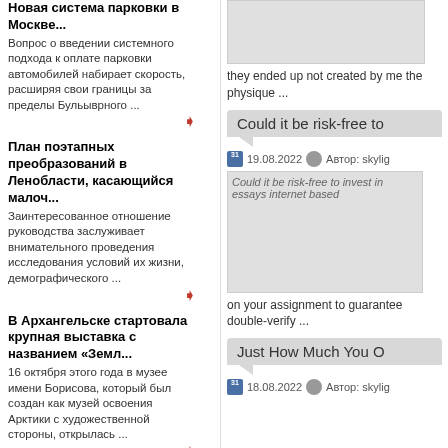Новая система парковки в Москве... Вопрос о введении системного подхода к оплате парковки автомобилей набирает скорость, расширяя свои границы за пределы Бульыврного ...
План поэтапных преобразований в Ленобласти, касающийся малоч... Заинтересованное отношение руководства заслуживает внимательного проведения исследования условий их жизни, демографического ...
В Архангельске стартовала крупная выставка с названием «Земл... 16 октября этого года в музее имени Борисова, который был создан как музей освоения Арктики с художественной стороны, открылась ...
Как выбрать женские и мужские сумки на летний период?... Неповторимый образ девушки завершенным делают аксессуары. В том числе это касается и сумочек. Данные изделия играют не только ...
Энергоснабжение
По мнению Андрея Петрова, депутата Смоленской
[Figure (photo): Thumbnail image placeholder for right column top article]
they ended up not created by me the physique ...
Could it be risk-free to
19.08.2022  Автор: skylig
[Figure (screenshot): Image thumbnail: Could it be risk-free to invest in essays internet based]
on your assignment to guarantee double-verify ...
Just How Much You O
18.08.2022  Автор: skylig